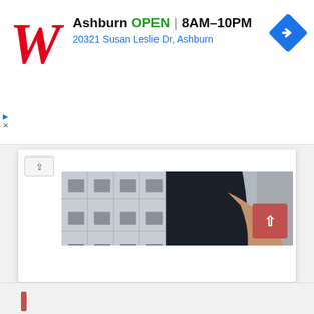[Figure (screenshot): Walgreens advertisement banner: Walgreens W logo (red cursive), text 'Ashburn OPEN | 8AM–10PM' and '20321 Susan Leslie Dr, Ashburn', blue navigation diamond icon on right. Ad controls (play/close) on left side.]
[Figure (photo): Photo of a muscular person in a black t-shirt with hand on hip and a black watch/band on wrist, urban building in background. Scroll-up red button overlay at bottom-right.]